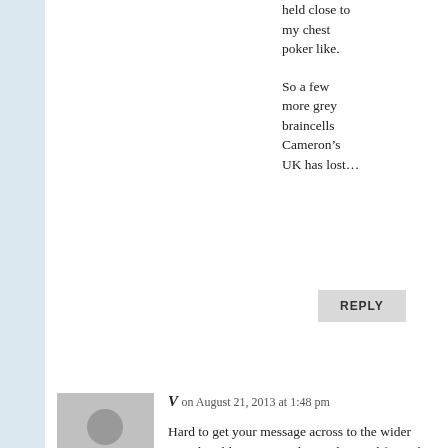held close to my chest poker like.
So a few more grey braincells Cameron’s UK has lost…
REPLY
[Figure (illustration): Generic user avatar silhouette on grey background]
V on August 21, 2013 at 1:48 pm
Hard to get your message across to the wider British public in a way that is clear and fair, when the majority of the press in the country, which are centre right-